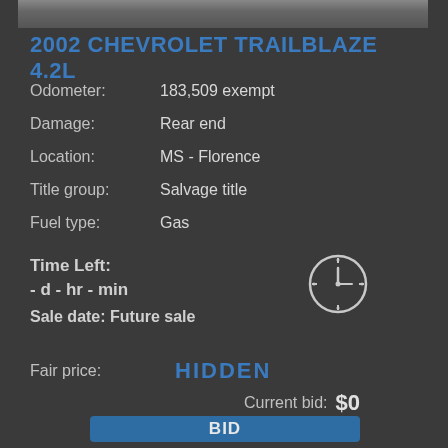[Figure (photo): Top strip of a vehicle photo, partially visible]
2002 CHEVROLET TRAILBLAZE 4.2L
Odometer: 183,509 exempt
Damage: Rear end
Location: MS - Florence
Title group: Salvage title
Fuel type: Gas
Time Left: - d - hr - min
Sale date: Future sale
Fair price: HIDDEN
Current bid: $0
BID